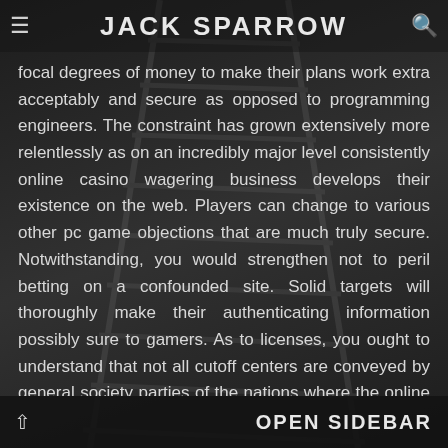JACK SPARROW
focal degrees of money to make their plans work extra acceptably and secure as opposed to programming engineers. The constraint has grown extensively more relentlessly as on an incredibly major level consistently online casino wagering business develops their existence on the web. Players can change to various other pc game objections that are much truly secure. Notwithstanding, you would strengthen not to peril betting on a confounded site. Solid targets will thoroughly make their authenticating information possibly sure to gamers. As to licenses, you ought to understand that not all cutoff centers are conveyed by general society parties of the nations where the online casino video game districts run from.
Several licenses are given by clear on the web online casino website or video game subject matter experts. Maybe the most obvious non-advantage affiliations that direct web games and shield the two players and
OPEN SIDEBAR